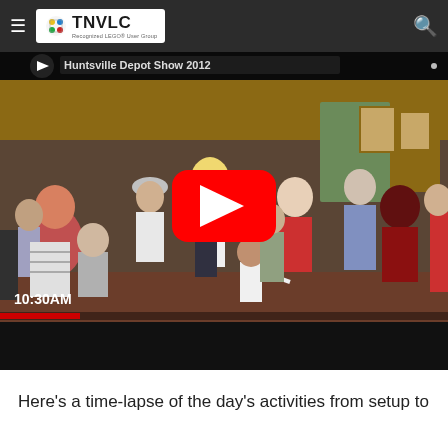TNVLC - Recognized LEGO User Group
[Figure (screenshot): YouTube video thumbnail showing a time-lapse of the Huntsville Depot Show 2012. The video shows a crowd of people walking around inside a building. A red YouTube play button is overlaid in the center. Text '10:30AM' appears in the lower left corner of the video. The video title 'Huntsville Depot Show 2012' is visible at the top of the video.]
Here's a time-lapse of the day's activities from setup to